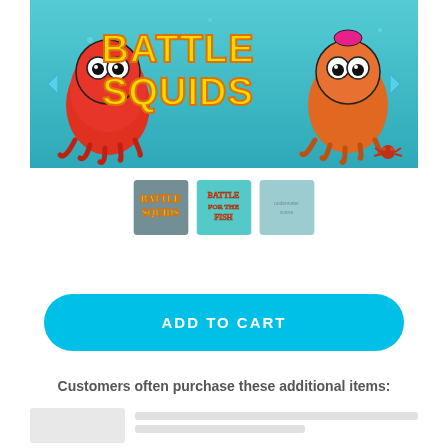[Figure (illustration): Battle Squids game promotional banner showing two cartoon squids (one red on the left, one orange on the right) with large yellow text reading BATTLE SQUIDS on an underwater teal/blue background with navigation arrows on sides and a small crab in the bottom right corner.]
[Figure (illustration): Three thumbnail images: first shows Battle Squids logo on colorful background, second shows Battle for the Fish text in orange on teal background, third shows a blurred underwater scene.]
ADD TO CART
Customers often purchase these additional items: